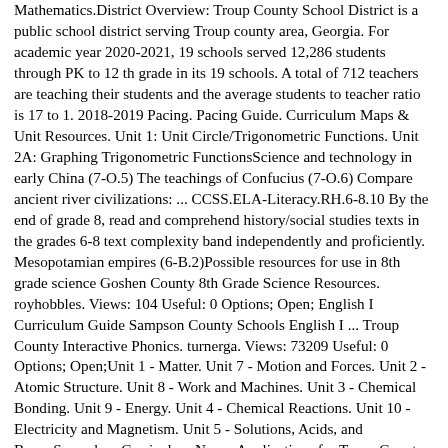Mathematics.District Overview: Troup County School District is a public school district serving Troup county area, Georgia. For academic year 2020-2021, 19 schools served 12,286 students through PK to 12 th grade in its 19 schools. A total of 712 teachers are teaching their students and the average students to teacher ratio is 17 to 1. 2018-2019 Pacing. Pacing Guide. Curriculum Maps & Unit Resources. Unit 1: Unit Circle/Trigonometric Functions. Unit 2A: Graphing Trigonometric FunctionsScience and technology in early China (7-O.5) The teachings of Confucius (7-O.6) Compare ancient river civilizations: ... CCSS.ELA-Literacy.RH.6-8.10 By the end of grade 8, read and comprehend history/social studies texts in the grades 6-8 text complexity band independently and proficiently. Mesopotamian empires (6-B.2)Possible resources for use in 8th grade science Goshen County 8th Grade Science Resources. royhobbles. Views: 104 Useful: 0 Options; Open; English I Curriculum Guide Sampson County Schools English I ... Troup County Interactive Phonics. turnerga. Views: 73209 Useful: 0 Options; Open;Unit 1 - Matter. Unit 7 - Motion and Forces. Unit 2 - Atomic Structure. Unit 8 - Work and Machines. Unit 3 - Chemical Bonding. Unit 9 - Energy. Unit 4 - Chemical Reactions. Unit 10 - Electricity and Magnetism. Unit 5 - Solutions, Acids, and Bases.Secondary Curriculum News. Applications for Troup County School System (TCSS) Middle and High School Virtual Academy 2022-23 are now being accepted until July 8, 2022. TCSS Wants You! HB 385. Troup County Schools' Nutrition Department will offer free breakfast and lunch meals to students this summer.